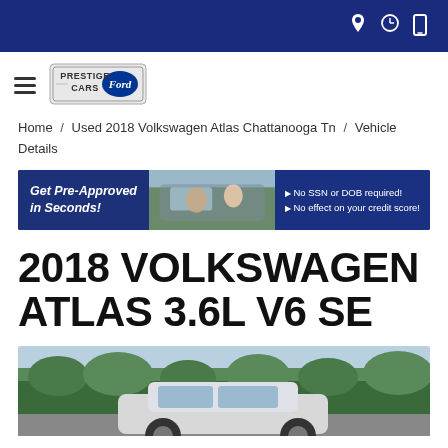Navigation bar with location, hours, and phone icons
[Figure (logo): Prestige Cars Ford dealership logo with hamburger menu icon]
Home / Used 2018 Volkswagen Atlas Chattanooga Tn / Vehicle Details
[Figure (infographic): Get Pre-Approved in Seconds! No SSN or DOB required! No effect on your credit score! Banner with couple in car photo]
2018 VOLKSWAGEN ATLAS 3.6L V6 SE
[Figure (photo): 2018 Volkswagen Atlas photographed outdoors with trees in background]